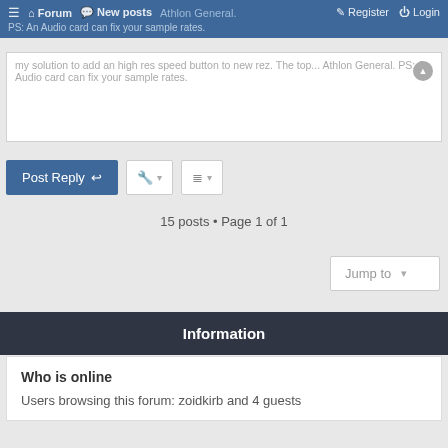Forum  New posts  Register  Login
my solution to add an high res speed button to new rez. The top... Athlon General. PS: An Audio card can fix your sample rates.
Post Reply
15 posts • Page 1 of 1
Jump to
Information
Who is online
Users browsing this forum: zoidkirb and 4 guests